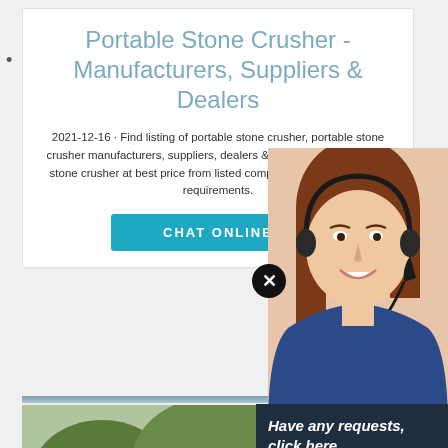Portable Stone Crusher - Manufacturers, Suppliers & Dealers
2021-12-16 · Find listing of portable stone crusher, portable stone crusher manufacturers, suppliers, dealers & exporters. Get portable stone crusher at best price from listed companies as per your buying requirements.
CHAT ONLINE
[Figure (photo): Customer service representative woman wearing headset, smiling]
[Figure (photo): Portable stone crusher machine in outdoor setting with yellow machinery]
Have any requests, click here
Que
Enquiry
limingjlmofen@sina.com